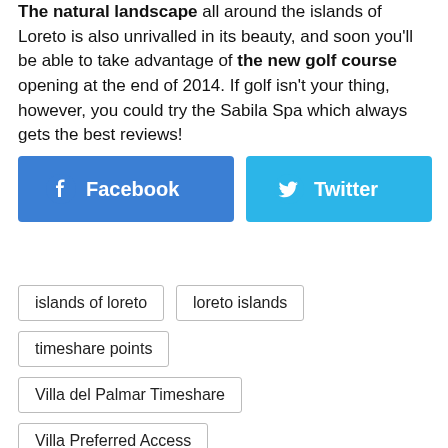The natural landscape all around the islands of Loreto is also unrivalled in its beauty, and soon you'll be able to take advantage of the new golf course opening at the end of 2014. If golf isn't your thing, however, you could try the Sabila Spa which always gets the best reviews!
[Figure (infographic): Facebook and Twitter share buttons]
islands of loreto
loreto islands
timeshare points
Villa del Palmar Timeshare
Villa Preferred Access